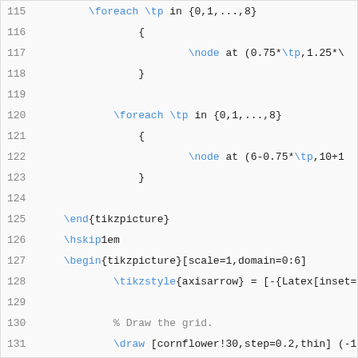Code listing lines 115–136 showing LaTeX/TikZ source code